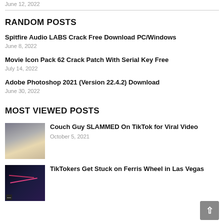June 12, 2022
RANDOM POSTS
Spitfire Audio LABS Crack Free Download PC/Windows
June 8, 2022
Movie Icon Pack 62 Crack Patch With Serial Key Free
July 14, 2022
Adobe Photoshop 2021 (Version 22.4.2) Download
June 30, 2022
MOST VIEWED POSTS
Couch Guy SLAMMED On TikTok for Viral Video
October 5, 2021
TikTokers Get Stuck on Ferris Wheel in Las Vegas